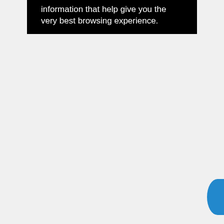information that help give you the very best browsing experience.
also double as a hand-cranked projector so that the films it produced could then be projected onto a screen in any convenient room. By contrast, Edison intended that the material produced by his Kinetograph camera should be viewed by means of a separate dedicated device which he baptised the ‘Kinetoscope’. This consisted of a chest-high wooden box, surmounted by a small portal containing a magnifying glass, which the viewers, one by one, looked down into in order to view the films. Edison believed that this single-viewer arrrangement would be the most profitable way to charge for the viewing of films and he set up a series of ‘Kinetoscope parlours’ across the USA and even in Europe.